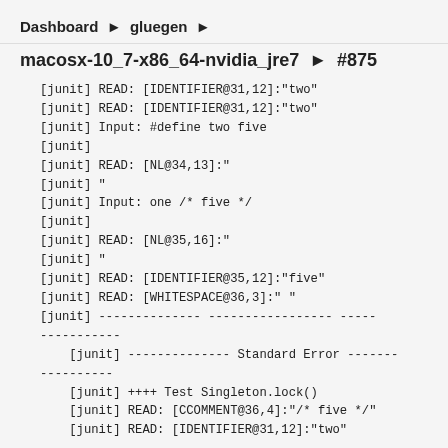Dashboard ▶ gluegen ▶
macosx-10_7-x86_64-nvidia_jre7 ▶ #875
[junit] READ: [IDENTIFIER@31,12]:"two"
[junit] READ: [IDENTIFIER@31,12]:"two"
[junit] Input: #define two five
[junit]
[junit] READ: [NL@34,13]:"
[junit] "
[junit] Input: one /* five */
[junit]
[junit] READ: [NL@35,16]:"
[junit] "
[junit] READ: [IDENTIFIER@35,12]:"five"
[junit] READ: [WHITESPACE@36,3]:" "
[junit] -------------- ----------------- --------------------
    [junit] -------------- Standard Error ------------------
    [junit] ++++ Test Singleton.lock()
[junit] READ: [CCOMMENT@36,4]:"/* five */"
[junit] READ: [IDENTIFIER@31,12]:"two"